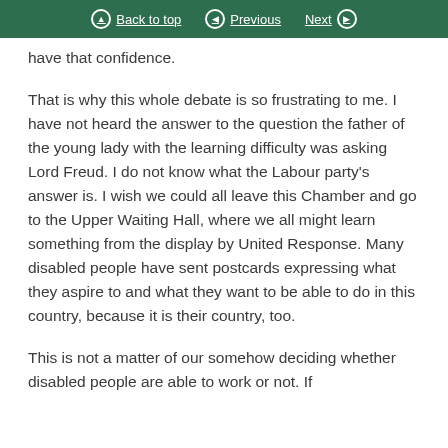Back to top | Previous | Next
have that confidence.
That is why this whole debate is so frustrating to me. I have not heard the answer to the question the father of the young lady with the learning difficulty was asking Lord Freud. I do not know what the Labour party's answer is. I wish we could all leave this Chamber and go to the Upper Waiting Hall, where we all might learn something from the display by United Response. Many disabled people have sent postcards expressing what they aspire to and what they want to be able to do in this country, because it is their country, too.
This is not a matter of our somehow deciding whether disabled people are able to work or not. If